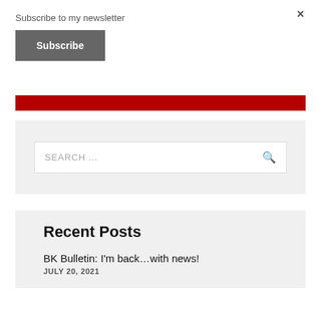×
Subscribe to my newsletter
Subscribe
[Figure (other): Red banner bar]
SEARCH …
Recent Posts
BK Bulletin: I'm back…with news!
JULY 20, 2021